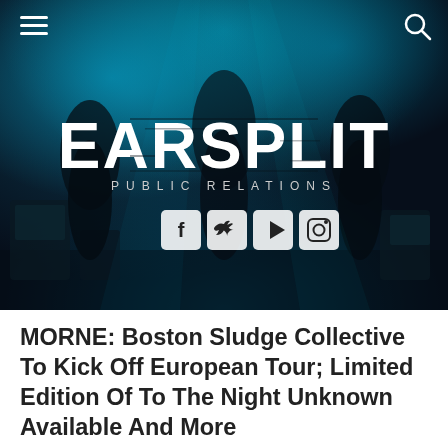[Figure (photo): Dark concert/live music photo with teal-blue stage lighting showing band members performing. The Earsplit Public Relations logo is overlaid in large white distressed text, with social media icons (Facebook, Twitter, YouTube, Instagram) below it. A hamburger menu icon is in the top-left and a search icon in the top-right.]
MORNE: Boston Sludge Collective To Kick Off European Tour; Limited Edition Of To The Night Unknown Available And More